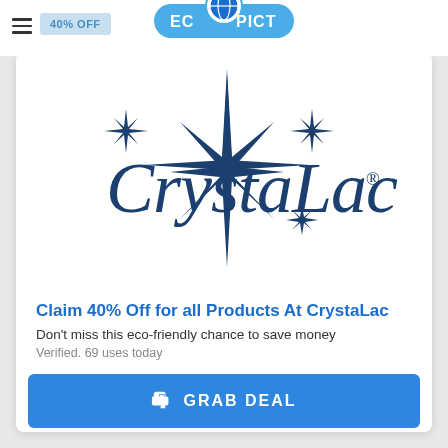ECOPICT — 40% OFF
[Figure (logo): CrystaLac brand logo with dark blue star/sparkle graphic and serif text 'CrystaLac' with registered trademark symbol]
Claim 40% Off for all Products At CrystaLac
Don't miss this eco-friendly chance to save money
Verified. 69 uses today
👍 GRAB DEAL